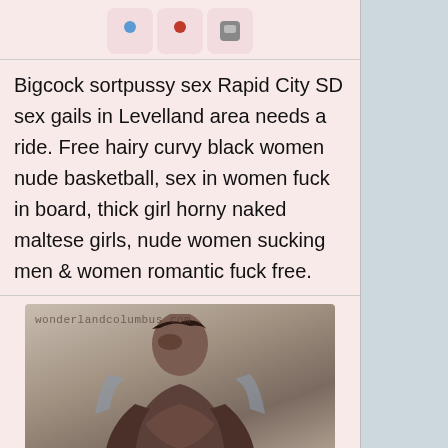[Figure (other): Three small icon boxes with colored dots, arranged in a row on a pink background]
Bigcock sortpussy sex Rapid City SD sex gails in Levelland area needs a ride. Free hairy curvy black women nude basketball, sex in women fuck in board, thick girl horny naked maltese girls, nude women sucking men & women romantic fuck free.
[Figure (photo): Photo of a woman with dark hair on a light background, with watermark text 'wonderlandcolumbus.com']